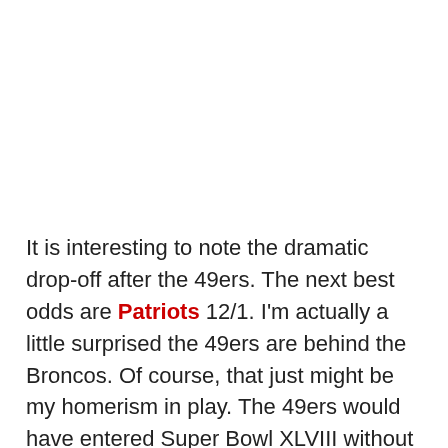It is interesting to note the dramatic drop-off after the 49ers. The next best odds are Patriots 12/1. I'm actually a little surprised the 49ers are behind the Broncos. Of course, that just might be my homerism in play. The 49ers would have entered Super Bowl XLVIII without NaVorro Bowman or Mike Iupati, and Frank Gore likely would have been playing with an injured hand.